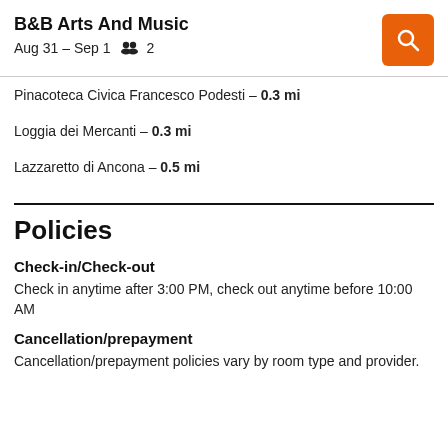B&B Arts And Music
Aug 31 – Sep 1  2
Pinacoteca Civica Francesco Podesti – 0.3 mi
Loggia dei Mercanti – 0.3 mi
Lazzaretto di Ancona – 0.5 mi
Policies
Check-in/Check-out
Check in anytime after 3:00 PM, check out anytime before 10:00 AM
Cancellation/prepayment
Cancellation/prepayment policies vary by room type and provider.